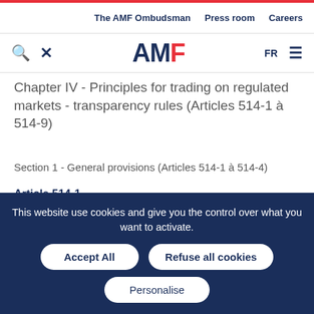The AMF Ombudsman   Press room   Careers
[Figure (logo): AMF logo with search icon, close icon, FR language selector and hamburger menu]
Chapter IV - Principles for trading on regulated markets - transparency rules (Articles 514-1 à 514-9)
Section 1 - General provisions (Articles 514-1 à 514-4)
Article 514-1
The market rules shall set forth the conditions in which
This website use cookies and give you the control over what you want to activate.